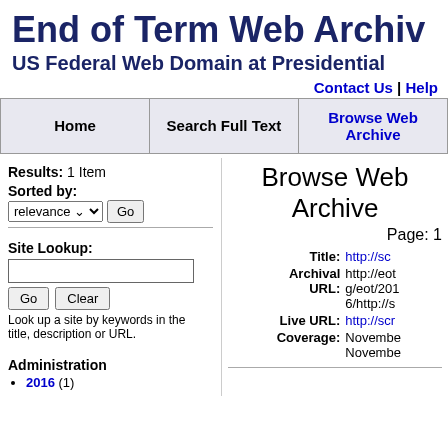End of Term Web Archiv
US Federal Web Domain at Presidential
Contact Us | Help
| Home | Search Full Text | Browse Web Archive |
| --- | --- | --- |
Results: 1 Item
Sorted by: relevance Go
Browse Web Archive
Page: 1
Site Lookup:
Look up a site by keywords in the title, description or URL.
Administration
2016 (1)
Title: http://sc
Archival URL: http://eot g/eot/201 6/http://s
Live URL: http://scr
Coverage: Novembe Novembe